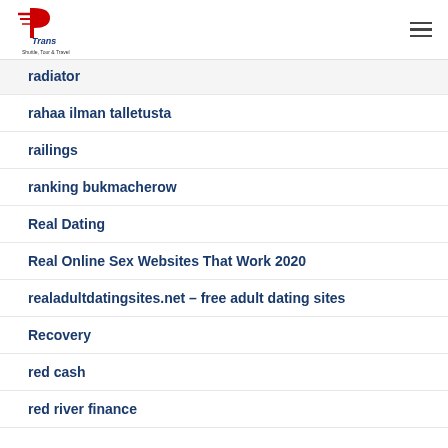P Trans Shuttle, Tour & Travel
radiator
rahaa ilman talletusta
railings
ranking bukmacherow
Real Dating
Real Online Sex Websites That Work 2020
realadultdatingsites.net – free adult dating sites
Recovery
red cash
red river finance